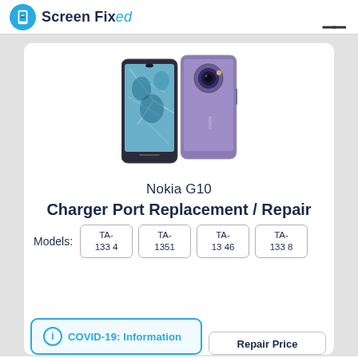Screen Fixed
[Figure (photo): Nokia G10 smartphone shown from front (cracked screen) and back (purple color with circular camera module)]
Nokia G10
Charger Port Replacement / Repair
Models: TA-1334  TA-1351  TA-1346  TA-1338
COVID-19: Information
Repair Price